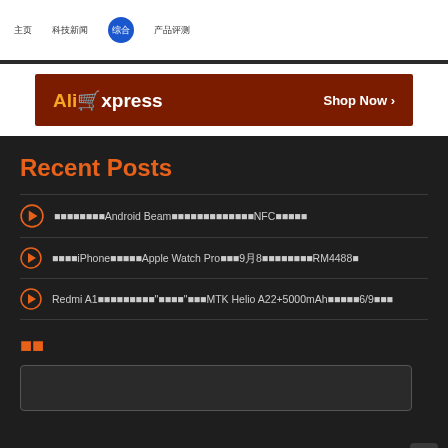Navigation bar with menu items and active tab highlighted in blue
[Figure (other): AliExpress advertisement banner with orange/dark red background and Shop Now button]
Recent Posts
如何在没有Android Beam的情况下在手机之间传输文件（使用NFC）这里是内容
新款iPhone正在配备Apple Watch Pro以及9月8日发布价格从RM4488起
Redmi A1发布了一款具有"入门"定位的MTK Helio A22+5000mAh电池于6/9发布
搜索
Search input box